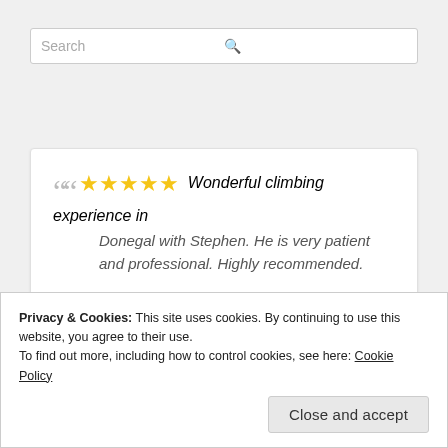[Figure (screenshot): Search input bar with placeholder text 'Search' and a search icon on the right]
" ★★★★★ Wonderful climbing experience in Donegal with Stephen. He is very patient and professional. Highly recommended.
ARNAUD VIRICEL
Privacy & Cookies: This site uses cookies. By continuing to use this website, you agree to their use.
To find out more, including how to control cookies, see here: Cookie Policy
Close and accept